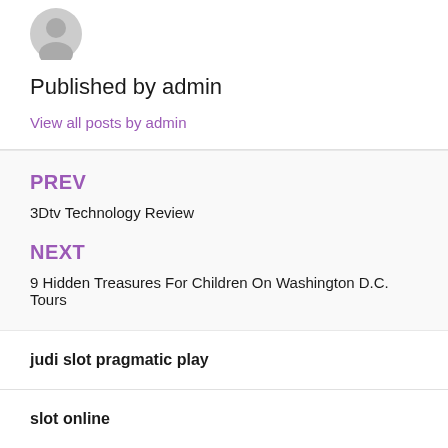[Figure (illustration): Grey circular avatar/profile placeholder icon]
Published by admin
View all posts by admin
PREV
3Dtv Technology Review
NEXT
9 Hidden Treasures For Children On Washington D.C. Tours
judi slot pragmatic play
slot online